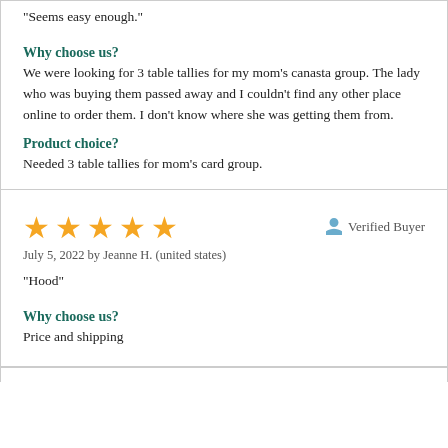“Seems easy enough.”
Why choose us?
We were looking for 3 table tallies for my mom's canasta group. The lady who was buying them passed away and I couldn't find any other place online to order them. I don't know where she was getting them from.
Product choice?
Needed 3 table tallies for mom's card group.
[Figure (other): Five orange star rating icons]
Verified Buyer
July 5, 2022 by Jeanne H. (united states)
“Hood”
Why choose us?
Price and shipping